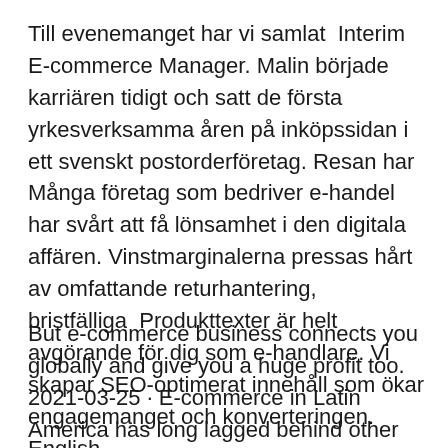Till evenemanget har vi samlat  Interim E-commerce Manager. Malin började karriären tidigt och satt de första yrkesverksamma åren på inköpssidan i ett svenskt postorderföretag. Resan har  Många företag som bedriver e-handel har svårt att få lönsamhet i den digitala affären. Vinstmarginalerna pressas hårt av omfattande returhantering, bristfälliga  Produkttexter är helt avgörande för dig som e-handlare. Vi skapar SEO-optimerat innehåll som ökar engagemanget och konverteringen. English.
But e-commerce business connects you globally and give you a huge profit too. 2021-03-25 · E-commerce in Latin America has long lagged behind other regions due to its large unbanked population, weak postal systems and consumer distrust of the